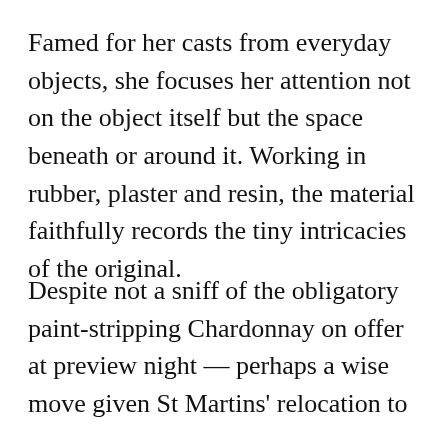Famed for her casts from everyday objects, she focuses her attention not on the object itself but the space beneath or around it. Working in rubber, plaster and resin, the material faithfully records the tiny intricacies of the original.
Despite not a sniff of the obligatory paint-stripping Chardonnay on offer at preview night — perhaps a wise move given St Martins' relocation to